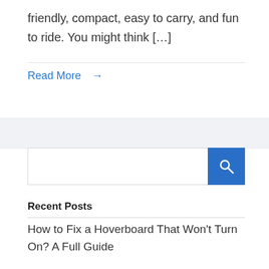friendly, compact, easy to carry, and fun to ride. You might think […]
Read More →
[Figure (other): Search bar with blue search button containing a magnifying glass icon]
Recent Posts
How to Fix a Hoverboard That Won't Turn On? A Full Guide